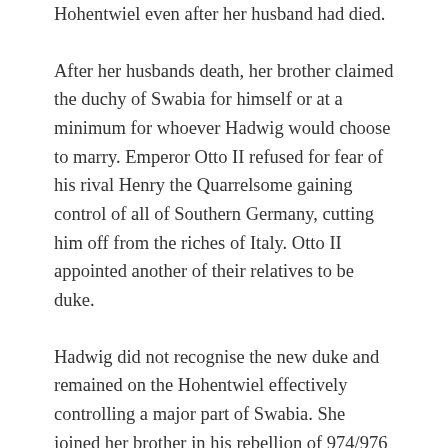Hohentwiel even after her husband had died.
After her husbands death, her brother claimed the duchy of Swabia for himself or at a minimum for whoever Hadwig would choose to marry. Emperor Otto II refused for fear of his rival Henry the Quarrelsome gaining control of all of Southern Germany, cutting him off from the riches of Italy. Otto II appointed another of their relatives to be duke.
Hadwig did not recognise the new duke and remained on the Hohentwiel effectively controlling a major part of Swabia. She joined her brother in his rebellion of 974/976 and again in his attempt to gain the crown in 983. (check out episode 9 “ A Matter of Habit” and Episode 11 “Woe the Land..”)
Since the castle was impregnable the emperor(s) chose to